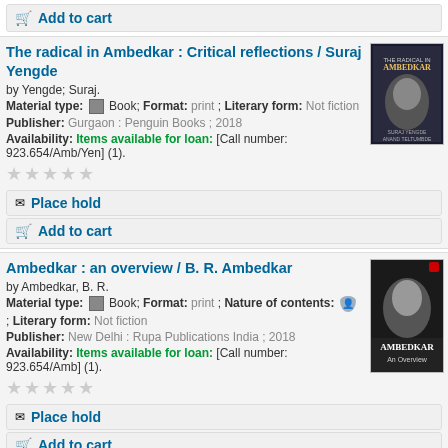Add to cart
The radical in Ambedkar : Critical reflections / Suraj Yengde
by Yengde; Suraj.
Material type: Book; Format: print ; Literary form: Not fiction
Publisher: Gurgaon : Penguin Books ; 2018
Availability: Items available for loan: [Call number: 923.654/Amb/Yen] (1).
Place hold
Add to cart
Ambedkar : an overview / B. R. Ambedkar
by Ambedkar, B. R.
Material type: Book; Format: print ; Nature of contents: ; Literary form: Not fiction
Publisher: New Delhi : Rupa Publications India ; 2018
Availability: Items available for loan: [Call number: 923.654/Amb] (1).
Place hold
Add to cart
India's wars : A military history, 1947-1971 / Arjun